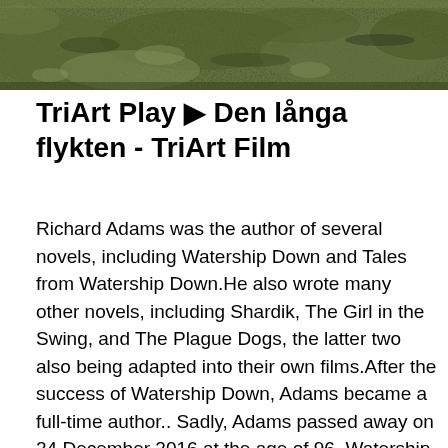[Figure (photo): Mossy rocks or stone surface, cropped at top of page]
TriArt Play ▶ Den långa flykten - TriArt Film
Richard Adams was the author of several novels, including Watership Down and Tales from Watership Down.He also wrote many other novels, including Shardik, The Girl in the Swing, and The Plague Dogs, the latter two also being adapted into their own films.After the success of Watership Down, Adams became a full-time author.. Sadly, Adams passed away on 24 December 2016 at the age of 96. Watership Down is an adventure novel by English author Richard Adams, published by Rex Collings Ltd of London in 1972. Set in southern England, around Hampshire, the story features a small group of rabbits. Watership Down is a classic